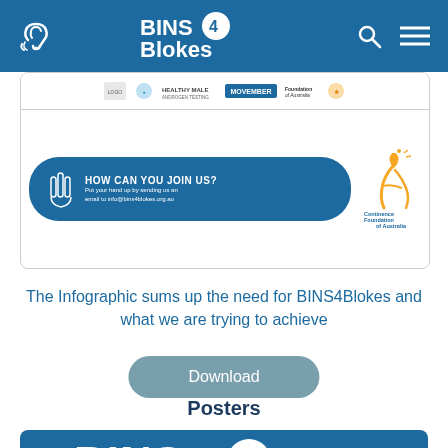BINS4Blokes
[Figure (infographic): Infographic partial view showing partner logos (Healthy Male, Movember, Continence Foundation of Australia) and a 'How Can You Join Us?' banner with hand icons, invitation to send email to info@bins4blokes.org.au, and Continence Foundation of Australia logo with orange figure graphic.]
The Infographic sums up the need for BINS4Blokes and what we are trying to achieve
Download
Posters
[Figure (infographic): Bottom portion of a dark blue poster showing the BINS4Blokes logo text beginning to appear (BINS4 visible).]